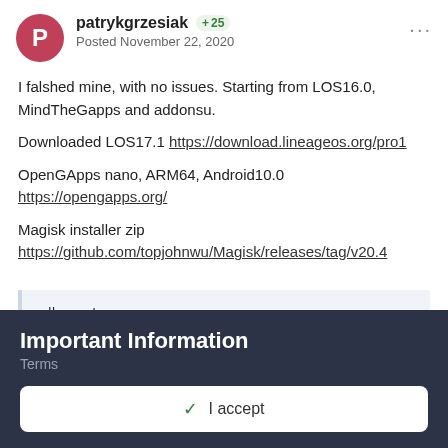patrykgrzesiak +25 Posted November 22, 2020
I falshed mine, with no issues. Starting from LOS16.0, MindTheGapps and addonsu.
Downloaded LOS17.1 https://download.lineageos.org/pro1
OpenGApps nano, ARM64, Android10.0 https://opengapps.org/
Magisk installer zip
https://github.com/topjohnwu/Magisk/releases/tag/v20.4
adb root
adb reboot sideload
adb sideload lineage-17.1-20201116-nightly-pro1-
signed.zip
Important Information
Terms
✓ I accept